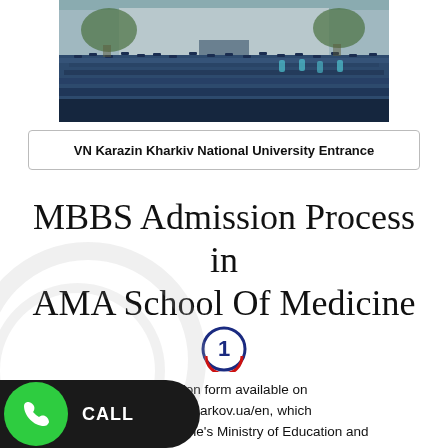[Figure (photo): Group photo of graduation students in blue robes standing in front of VN Karazin Kharkiv National University Entrance]
VN Karazin Kharkiv National University Entrance
MBBS Admission Process in AMA School Of Medicine
[Figure (infographic): Step number 1 circle icon with blue and red border]
just complete the application form available on ebsite https://www.univer.kharkov.ua/en, which has been approved by Ukraine's Ministry of Education and Science. The applications are typically reviewed within 10-15